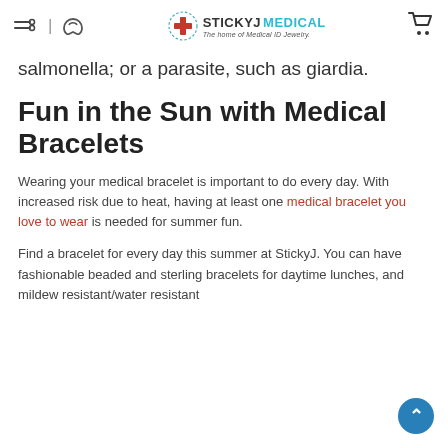StickyJ Medical — The home of Medical ID Jewelry.
salmonella; or a parasite, such as giardia.
Fun in the Sun with Medical Bracelets
Wearing your medical bracelet is important to do every day. With increased risk due to heat, having at least one medical bracelet you love to wear is needed for summer fun.
Find a bracelet for every day this summer at StickyJ. You can have fashionable beaded and sterling bracelets for daytime lunches, and mildew resistant/water resistant